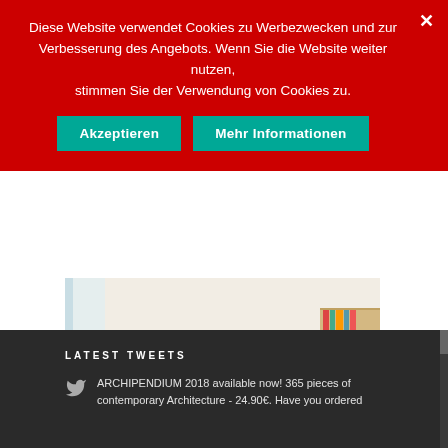Diese Website verwendet Cookies zu Werbezwecken und zur Verbesserung des Angebots. Wenn Sie die Website weiter nutzen, stimmen Sie der Verwendung von Cookies zu.
Akzeptieren
Mehr Informationen
[Figure (photo): Interior photo of a classroom or meeting room with wooden chairs around a table, bookshelves on the right, bright natural light from windows on the left]
LATEST TWEETS
ARCHIPENDIUM 2018 available now! 365 pieces of contemporary Architecture - 24.90€. Have you ordered